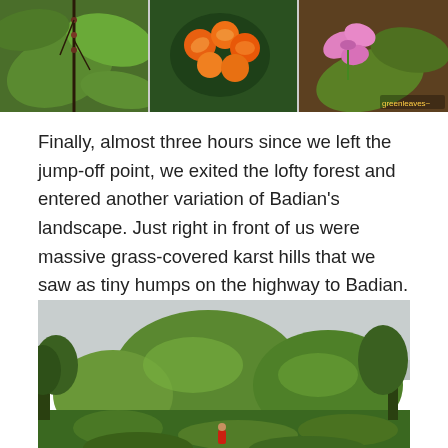[Figure (photo): Three-panel collage of tropical plant photos: left panel shows green leaves with a plant stem, center panel shows orange/red flowers, right panel shows a pink orchid flower and green leaves.]
Finally, almost three hours since we left the jump-off point, we exited the lofty forest and entered another variation of Badian's landscape. Just right in front of us were massive grass-covered karst hills that we saw as tiny humps on the highway to Badian.
[Figure (photo): Landscape photograph of large grass-covered karst hills with trees in the foreground and grey overcast sky. A person in a red shirt is visible at the bottom center of the image.]